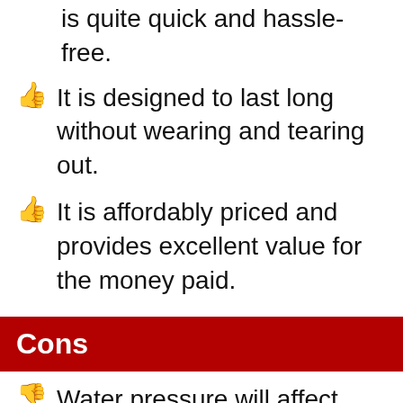is quite quick and hassle-free.
It is designed to last long without wearing and tearing out.
It is affordably priced and provides excellent value for the money paid.
Cons
Water pressure will affect sound quality, especially while the user is playing rough. However, it won't reach the limit when it feels highly bothered.